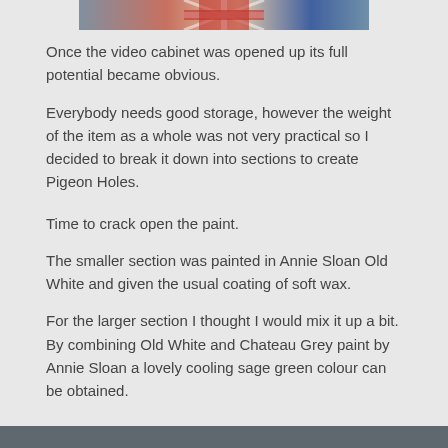[Figure (photo): Partial photo at top of page showing what appears to be a Union Jack flag and part of a room/cabinet scene]
Once the video cabinet was opened up its full potential became obvious.
Everybody needs good storage, however the weight of the item as a whole was not very practical so I decided to break it down into sections to create Pigeon Holes.
Time to crack open the paint.
The smaller section was painted in Annie Sloan Old White and given the usual coating of soft wax.
For the larger section I thought I would mix it up a bit. By combining Old White and Chateau Grey paint by Annie Sloan a lovely cooling sage green colour can be obtained.
[Figure (photo): Bottom strip showing partial view of a dark-coloured surface or painted item]